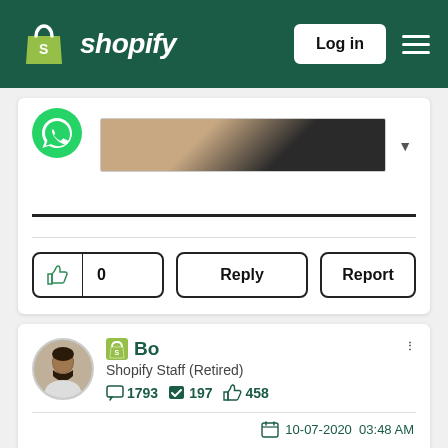Shopify — Log in
[Figure (screenshot): Partial post card with WhatsApp icon, product image, and action buttons (thumbs up 0, Reply, Report)]
[Figure (screenshot): Comment card by Bo, Shopify Staff (Retired), with stats: 1793 posts, 197 solutions, 458 likes; dated 10-07-2020 03:48 AM; partial reply text: Hey there, @shakhsheer]
Hey there, @shakhsheer